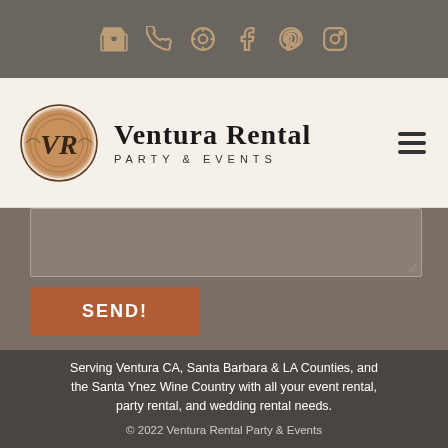[Figure (screenshot): Top navigation icon bar with shopping cart, phone, help, Facebook, Pinterest, and Instagram icons in tan/gold on dark gray background]
[Figure (logo): Ventura Rental Party & Events logo with circular copper/rose gold VR monogram emblem and company name text]
[Figure (screenshot): Website contact form textarea input field on brownish-gray background]
SEND!
Serving Ventura CA, Santa Barbara & LA Counties, and the Santa Ynez Wine Country with all your event rental, party rental, and wedding rental needs.
© 2022 Ventura Rental Party & Events